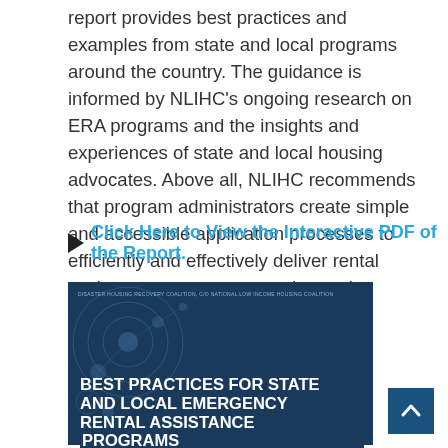report provides best practices and examples from state and local programs around the country. The guidance is informed by NLIHC's ongoing research on ERA programs and the insights and experiences of state and local housing advocates. Above all, NLIHC recommends that program administrators create simple and accessible application processes to efficiently and effectively deliver rental assistance to tenants most in need.
Click Here to View the Interactive PDF of the Report.
[Figure (illustration): Cover image of a report titled 'Best Practices for State and Local Emergency Rental Assistance Programs' published by Disaster Housing Recovery Coalition, c/o National Low Income Housing Coalition. Dark blue background with circular network graphic.]